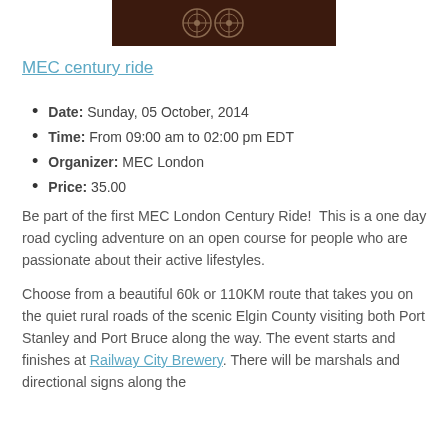[Figure (photo): Dark brown banner image with logo/emblem graphic for MEC century ride]
MEC century ride
Date: Sunday, 05 October, 2014
Time: From 09:00 am to 02:00 pm EDT
Organizer: MEC London
Price: 35.00
Be part of the first MEC London Century Ride!  This is a one day road cycling adventure on an open course for people who are passionate about their active lifestyles.
Choose from a beautiful 60k or 110KM route that takes you on the quiet rural roads of the scenic Elgin County visiting both Port Stanley and Port Bruce along the way. The event starts and finishes at Railway City Brewery. There will be marshals and directional signs along the